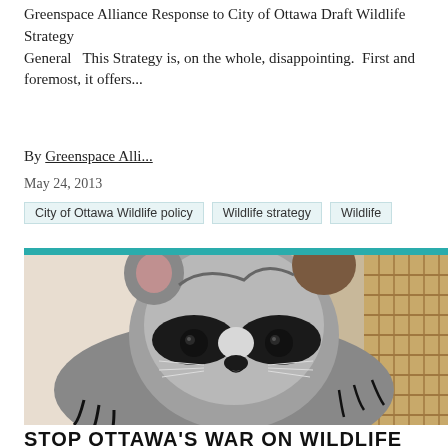Greenspace Alliance Response to City of Ottawa Draft Wildlife Strategy General   This Strategy is, on the whole, disappointing.  First and foremost, it offers...
By Greenspace Alli...
May 24, 2013
City of Ottawa Wildlife policy
Wildlife strategy
Wildlife
[Figure (photo): Close-up photo of a baby raccoon with distinctive black mask markings, sitting in or near a wicker basket. The raccoon has large dark eyes and visible claws.]
STOP OTTAWA'S WAR ON WILDLIFE